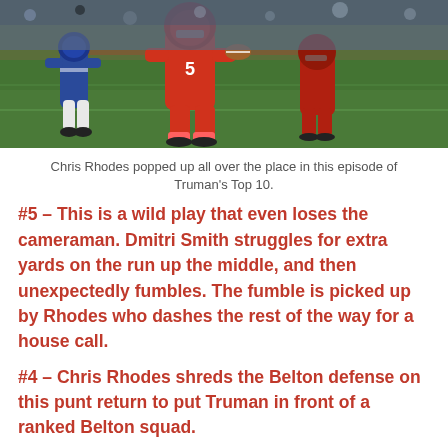[Figure (photo): Football players on a field, one player in red/orange uniform running with the ball]
Chris Rhodes popped up all over the place in this episode of Truman's Top 10.
#5 – This is a wild play that even loses the cameraman. Dmitri Smith struggles for extra yards on the run up the middle, and then unexpectedly fumbles. The fumble is picked up by Rhodes who dashes the rest of the way for a house call.
#4 – Chris Rhodes shreds the Belton defense on this punt return to put Truman in front of a ranked Belton squad.
#3 – Esteban Herrera takes some ankles and then a soul on this magical goal.